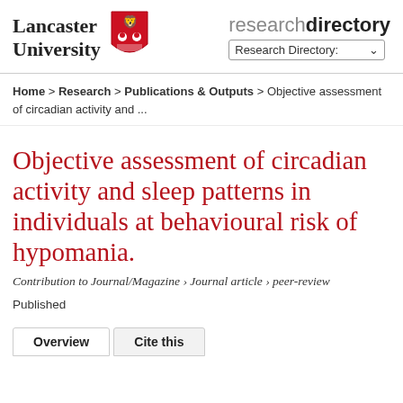[Figure (logo): Lancaster University logo with shield crest and 'research directory' text with dropdown]
Home > Research > Publications & Outputs > Objective assessment of circadian activity and ...
Objective assessment of circadian activity and sleep patterns in individuals at behavioural risk of hypomania.
Contribution to Journal/Magazine › Journal article › peer-review
Published
Overview   Cite this